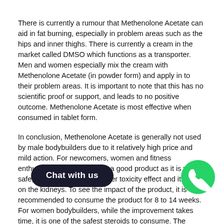There is currently a rumour that Methenolone Acetate can aid in fat burning, especially in problem areas such as the hips and inner thighs. There is currently a cream in the market called DMSO which functions as a transporter. Men and women especially mix the cream with Methenolone Acetate (in powder form) and apply in to their problem areas. It is important to note that this has no scientific proof or support, and leads to no positive outcome. Methenolone Acetate is most effective when consumed in tablet form.
In conclusion, Methenolone Acetate is generally not used by male bodybuilders due to it relatively high price and mild action. For newcomers, women and fitness enthusiasts, however, this is a good product as it is very safe, very smooth, with no liver toxicity effect and its easy on the kidneys. To see the impact of the product, it is recommended to consume the product for 8 to 14 weeks. For women bodybuilders, while the improvement takes time, it is one of the safest steroids to consume. The recommended dosage (depending on body weight, previously used dose and length of steroid use) would be within 25 to 75mg a day.
M... carries this steroid in the form of 25mg pe... (Pri... h grade pharmaceutical products with the be... materials. While the product may not be very cheap, it is definitely worth it.
[Figure (other): Dark rounded rectangle chat button with text 'Chat with us']
[Figure (other): Green WhatsApp phone icon circle in bottom right corner]